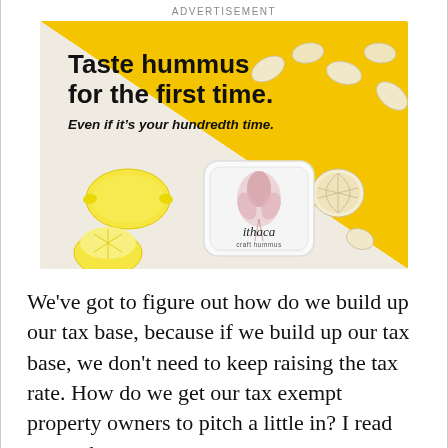ADVERTISEMENT
[Figure (photo): Ithaca craft hummus advertisement. Yellow and cream background with garlic cloves, a lemon, and a container of Ithaca craft hummus. Bold text reads 'Taste hummus for the first time.' with subtext 'Even if it's your hundredth time.']
We've got to figure out how do we build up our tax base, because if we build up our tax base, we don't need to keep raising the tax rate. How do we get our tax exempt property owners to pitch a little in? I read somewhere